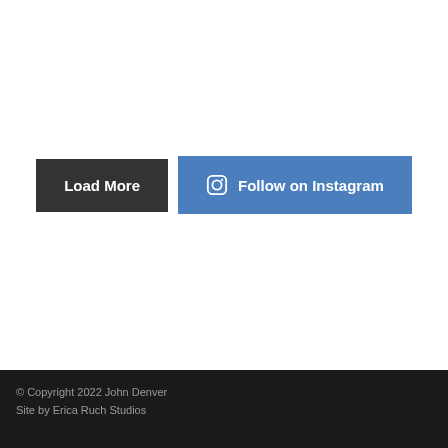[Figure (screenshot): Two UI buttons side by side: a dark gray 'Load More' button and a blue 'Follow on Instagram' button with an Instagram icon]
© Copyright 2022 John Denver
Site by Erica Ruch Studios